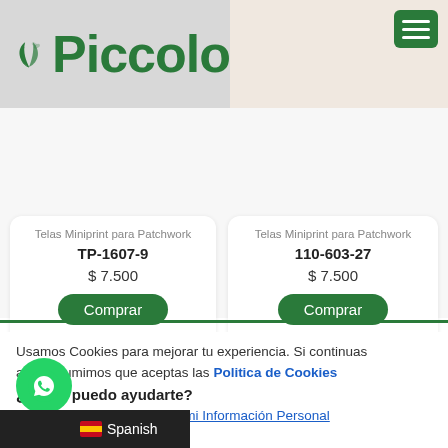[Figure (screenshot): Piccolo store header with green leaf logo and 'Piccolo' text on grey and floral background, with green hamburger menu button]
Telas Miniprint para Patchwork
TP-1607-9
$ 7.500
Comprar
/***/
Telas Miniprint para Patchwork
110-603-27
$ 7.500
Comprar
/***/
Usamos Cookies para mejorar tu experiencia. Si continuas ando asumimos que aceptas las Politica de Cookies
¿Cómo puedo ayudarte?
No vender mi Información Personal
Spanish